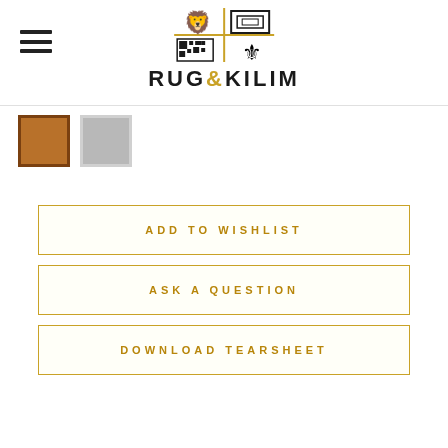RUG & KILIM
[Figure (logo): Rug & Kilim logo with heraldic lion, QR code, fleur-de-lis and geometric square icons above RUG&KILIM text]
[Figure (other): Two color swatches: brown (selected, with darker border) and gray]
ADD TO WISHLIST
ASK A QUESTION
DOWNLOAD TEARSHEET